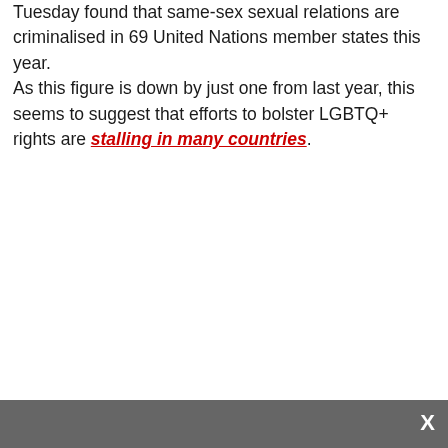Tuesday found that same-sex sexual relations are criminalised in 69 United Nations member states this year.

As this figure is down by just one from last year, this seems to suggest that efforts to bolster LGBTQ+ rights are stalling in many countries.